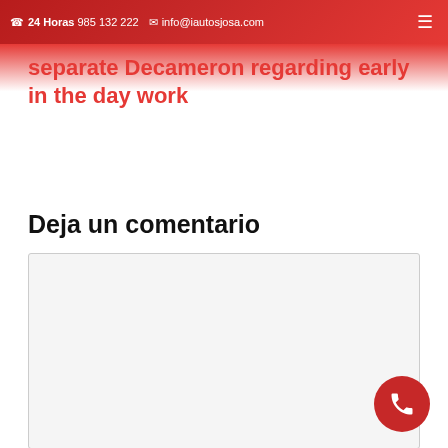24 Horas 985 132 222  info@iautosjosa.com
separate Decameron regarding early in the day work
Deja un comentario